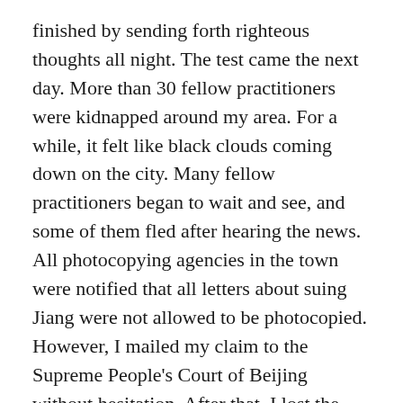finished by sending forth righteous thoughts all night. The test came the next day. More than 30 fellow practitioners were kidnapped around my area. For a while, it felt like black clouds coming down on the city. Many fellow practitioners began to wait and see, and some of them fled after hearing the news. All photocopying agencies in the town were notified that all letters about suing Jiang were not allowed to be photocopied. However, I mailed my claim to the Supreme People's Court of Beijing without hesitation. After that, I lost the track of my claim feeling like I threw a piece of stone into the sea. After a few days, the local Municipal Public Security Bureau called me, so I found out that the letter had been illegally seized by them. Faced with their unreasonable questioning, I was pushed back by my righteous thoughts, “This is our right.” They never interfered with me afterward. Just that night, I had a dream. My brother who is not a cultivator and I were walking on the way home. We encountered a giant canyon blocking our way; the huge waves below were so dangerous that we could not see the